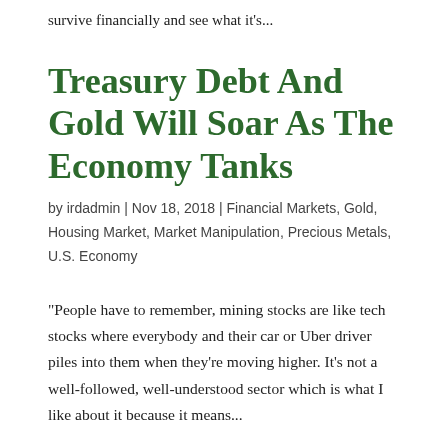survive financially and see what it's...
Treasury Debt And Gold Will Soar As The Economy Tanks
by irdadmin | Nov 18, 2018 | Financial Markets, Gold, Housing Market, Market Manipulation, Precious Metals, U.S. Economy
"People have to remember, mining stocks are like tech stocks where everybody and their car or Uber driver piles into them when they're moving higher. It's not a well-followed, well-understood sector which is what I like about it because it means...